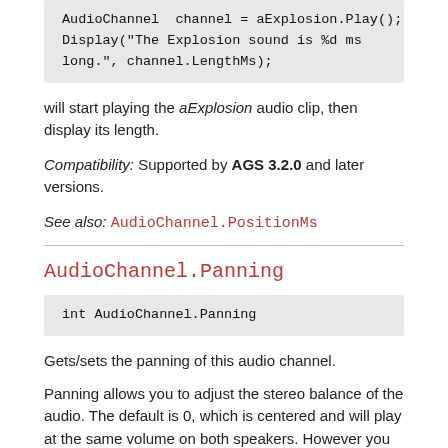[Figure (other): Code block showing: AudioChannel  channel = aExplosion.Play(); Display("The Explosion sound is %d ms long.", channel.LengthMs);]
will start playing the aExplosion audio clip, then display its length.
Compatibility: Supported by AGS 3.2.0 and later versions.
See also: AudioChannel.PositionMs
AudioChannel.Panning
[Figure (other): Code block showing: int AudioChannel.Panning]
Gets/sets the panning of this audio channel.
Panning allows you to adjust the stereo balance of the audio. The default is 0, which is centered and will play at the same volume on both speakers. However you can adjust this between -100 (fully left) to 100 (fully right) to adjust the